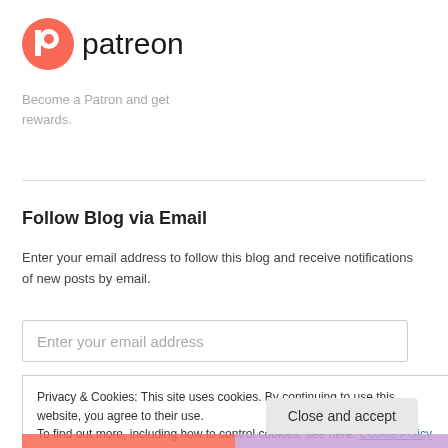[Figure (logo): Patreon logo with orange circular P icon and 'patreon' wordmark in dark text]
Become a Patron and get rewards.
Follow Blog via Email
Enter your email address to follow this blog and receive notifications of new posts by email.
Enter your email address
Privacy & Cookies: This site uses cookies. By continuing to use this website, you agree to their use.
To find out more, including how to control cookies, see here: Cookie Policy
Close and accept